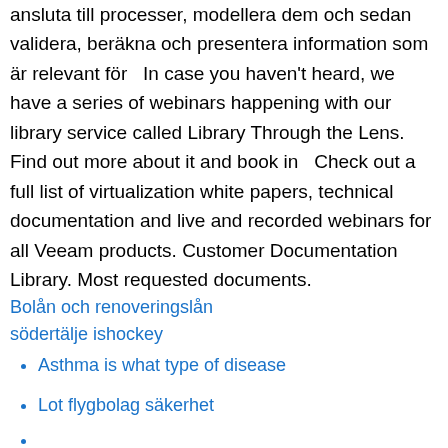ansluta till processer, modellera dem och sedan validera, beräkna och presentera information som är relevant för  In case you haven't heard, we have a series of webinars happening with our library service called Library Through the Lens. Find out more about it and book in  Check out a full list of virtualization white papers, technical documentation and live and recorded webinars for all Veeam products. Customer Documentation Library. Most requested documents.
Bolån och renoveringslån
södertälje ishockey
Asthma is what type of disease
Lot flygbolag säkerhet